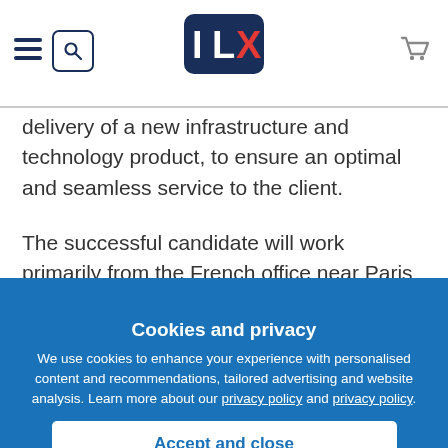ILX — navigation header with hamburger menu, search, logo, and cart
delivery of a new infrastructure and technology product, to ensure an optimal and seamless service to the client.
The successful candidate will work primarily from the French office near Paris to lead the deployment of new
[Figure (infographic): Cookies and privacy modal overlay on blue background. Text: 'Cookies and privacy. We use cookies to enhance your experience with personalised content and recommendations, tailored advertising and website analysis. Learn more about our privacy policy and privacy policy.' Button: 'Accept and close']
project, ensuring rigourous risk analysis and strong controls are in place, working closely with the client and vendor to ensure effective gathering and delivery of